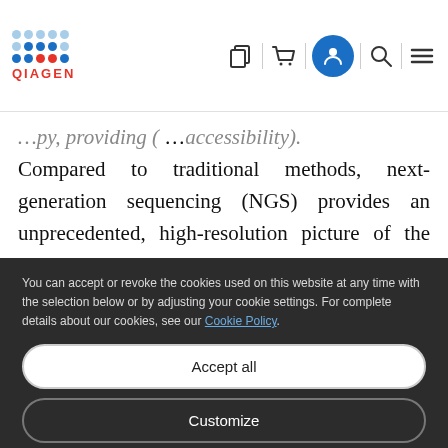QIAGEN [header with navigation icons]
Compared to traditional methods, next-generation sequencing (NGS) provides an unprecedented, high-resolution picture of the immune repertoire. However, the complex workflows and high time investment
You can accept or revoke the cookies used on this website at any time with the selection below or by adjusting your cookie settings. For complete details about our cookies, see our Cookie Policy.
Accept all
Customize
Only necessary